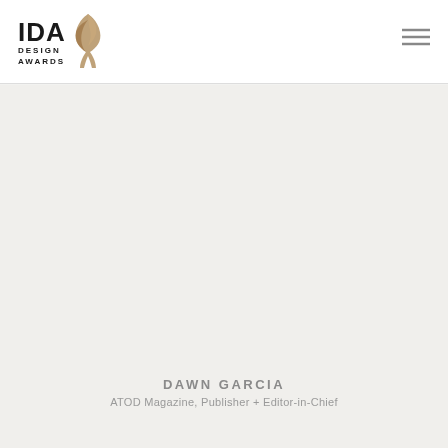IDA Design Awards
[Figure (logo): IDA Design Awards logo with stylized bird in gold/tan color]
DAWN GARCIA
ATOD Magazine, Publisher + Editor-in-Chief